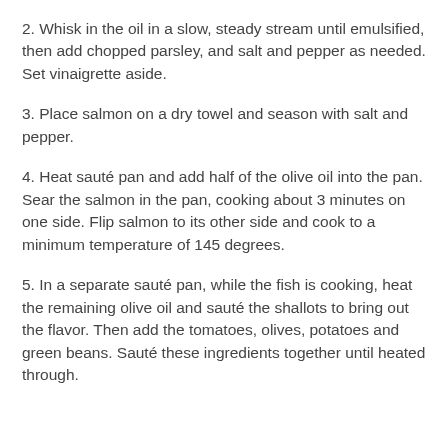2. Whisk in the oil in a slow, steady stream until emulsified, then add chopped parsley, and salt and pepper as needed. Set vinaigrette aside.
3. Place salmon on a dry towel and season with salt and pepper.
4. Heat sauté pan and add half of the olive oil into the pan. Sear the salmon in the pan, cooking about 3 minutes on one side. Flip salmon to its other side and cook to a minimum temperature of 145 degrees.
5. In a separate sauté pan, while the fish is cooking, heat the remaining olive oil and sauté the shallots to bring out the flavor. Then add the tomatoes, olives, potatoes and green beans. Sauté these ingredients together until heated through.